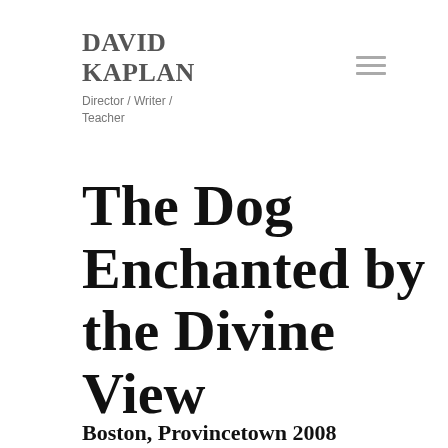DAVID KAPLAN
Director / Writer / Teacher
The Dog Enchanted by the Divine View
Boston, Provincetown 2008